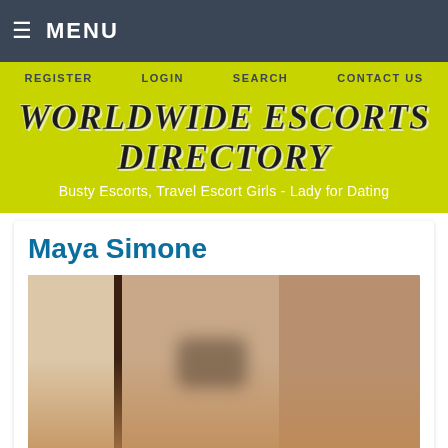≡ MENU
REGISTER
LOGIN
SEARCH
CONTACT US
WORLDWIDE ESCORTS DIRECTORY
Busty Escorts, Travel Escort Girls - Lady for Dating
Maya Simone
[Figure (photo): Profile photo of Maya Simone, showing a person reflected in a mirror with face pixelated/blurred, in a room with wooden panel doors]